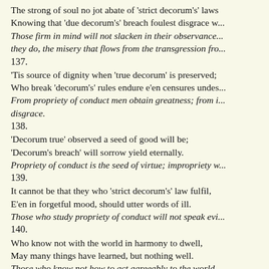The strong of soul no jot abate of 'strict decorum's' laws
Knowing that 'due decorum's' breach foulest disgrace w...
Those firm in mind will not slacken in their observance...
they do, the misery that flows from the transgression fro...
137.
'Tis source of dignity when 'true decorum' is preserved;
Who break 'decorum's' rules endure e'en censures undes...
From propriety of conduct men obtain greatness; from i...
disgrace.
138.
'Decorum true' observed a seed of good will be;
'Decorum's breach' will sorrow yield eternally.
Propriety of conduct is the seed of virtue; impropriety w...
139.
It cannot be that they who 'strict decorum's' law fulfil,
E'en in forgetful mood, should utter words of ill.
Those who study propriety of conduct will not speak evi...
140.
Who know not with the world in harmony to dwell,
May many things have learned, but nothing well.
Those who know not how to act agreeably to the world,
things, are still ignorant.
1.2.11 Not coveting another's Wife